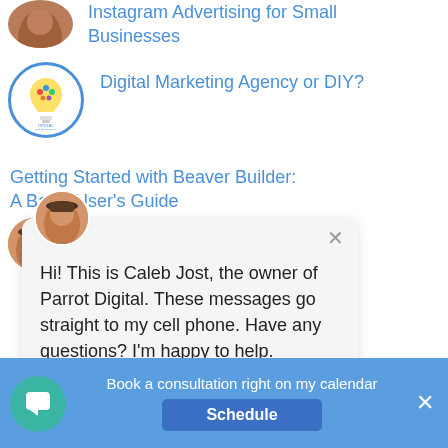[Figure (screenshot): Website listing page showing blog post links with thumbnail images and a chat popup overlay. The page has a light blue link color for article titles. A chat popup from Caleb Jost of Parrot Digital appears over the content. A bottom bar says 'Book a consultation right on my calendar' with a 'Schedule' button.]
Instagram Advertising for Small Businesses
Digital Marketing Agency or DIY?
Getting Started with Beaver Builder: A Basic User's Guide
Hi! This is Caleb Jost, the owner of Parrot Digital. These messages go straight to my cell phone. Have any questions? I'm happy to help.
a Analytics: Learning From Others' Missteps
Book a consultation right on my calendar
Schedule